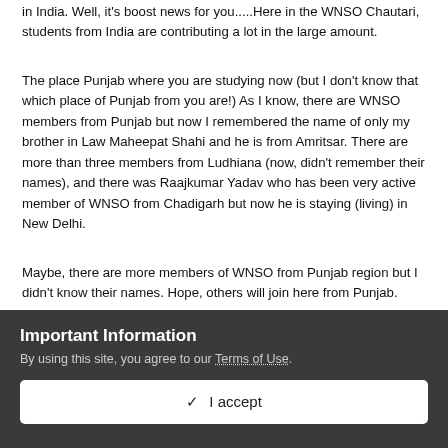in India. Well, it's boost news for you.....Here in the WNSO Chautari, students from India are contributing a lot in the large amount.
The place Punjab where you are studying now (but I don't know that which place of Punjab from you are!) As I know, there are WNSO members from Punjab but now I remembered the name of only my brother in Law Maheepat Shahi and he is from Amritsar. There are more than three members from Ludhiana (now, didn't remember their names), and there was Raajkumar Yadav who has been very active member of WNSO from Chadigarh but now he is staying (living) in New Delhi.
Maybe, there are more members of WNSO from Punjab region but I didn't know their names. Hope, others will join here from Punjab.
Important Information
By using this site, you agree to our Terms of Use.